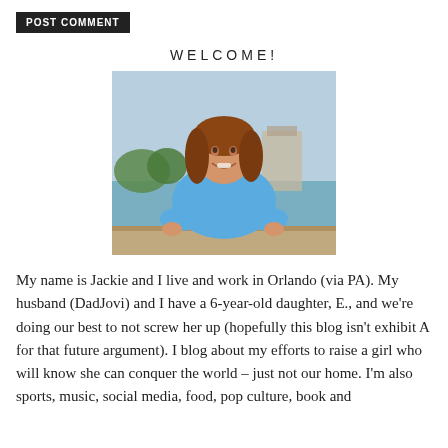[Figure (other): POST COMMENT button — dark background with white uppercase text]
WELCOME!
[Figure (photo): Portrait photo of Jackie, a woman with brown hair wearing a blue top, standing outdoors near a lake with buildings in the background]
My name is Jackie and I live and work in Orlando (via PA). My husband (DadJovi) and I have a 6-year-old daughter, E., and we're doing our best to not screw her up (hopefully this blog isn't exhibit A for that future argument). I blog about my efforts to raise a girl who will know she can conquer the world – just not our home. I'm also sports, music, social media, food, pop culture, book and